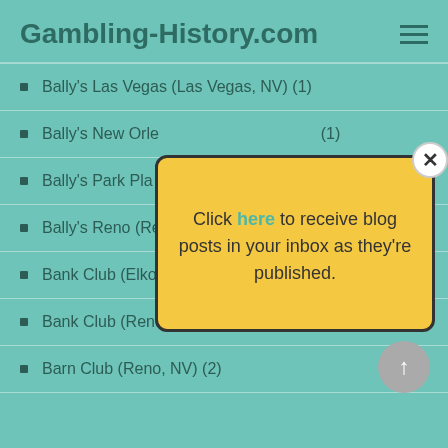Gambling-History.com
Bally's Las Vegas (Las Vegas, NV) (1)
Bally's New Orleans (1)
Bally's Park Place
Bally's Reno (Re...
Bank Club (Elko, NV) (1)
Bank Club (Reno, NV) (12)
Barn Club (Reno, NV) (2)
[Figure (screenshot): Popup modal with yellow background showing 'Click here to receive blog posts in your inbox as they're published.' with a close button (X) in the top right corner.]